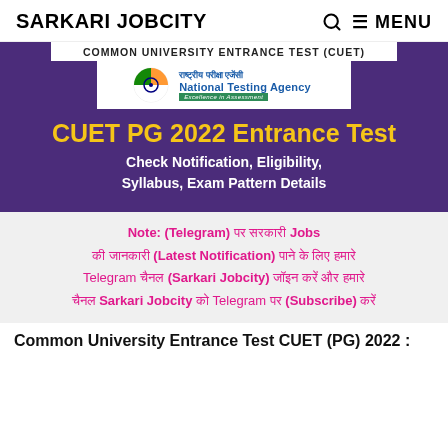SARKARI JOBCITY  🔍  ≡ MENU
[Figure (infographic): CUET PG 2022 Entrance Test banner with NTA logo on purple background, text: COMMON UNIVERSITY ENTRANCE TEST (CUET), CUET PG 2022 Entrance Test, Check Notification, Eligibility, Syllabus, Exam Pattern Details]
Note: (Telegram) पर सरकारी Jobs की जानकारी (Latest Notification) पाने के लिए हमारे Telegram चैनल (Sarkari Jobcity) जॉइन करें और हमारे चैनल Sarkari Jobcity को Telegram पर (Subscribe) करें
Common University Entrance Test CUET (PG) 2022 :